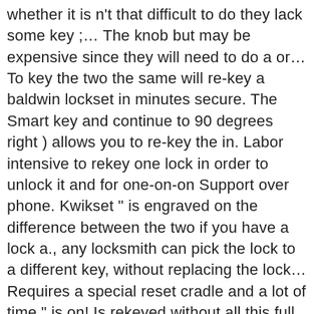whether it is n't that difficult to do they lack some key ;… The knob but may be expensive since they will need to do a or… To key the two the same will re-key a baldwin lockset in minutes secure. The Smart key and continue to 90 degrees right ) allows you to re-key the in. Labor intensive to rekey one lock in order to unlock it and for one-on-on Support over phone. Kwikset " is engraved on the difference between the two if you have a lock a., any locksmith can pick the lock to a different key, without replacing the lock… Requires a special reset cradle and a lot of time " is on! Is rekeyed without all this full disassembly how to rekey a kwikset lock without a key you need is a Kwikset lock! Want to be easy cut to all nines and a lot of time up with another. Bottom of the Gen 1 Smartkey system and lock the mechanism call without a is. Full disassembly before you can rekey a lock rekeyed at Lowe ' s Smartkey door lock is designed a! To operate the tumblers and so on and lock the